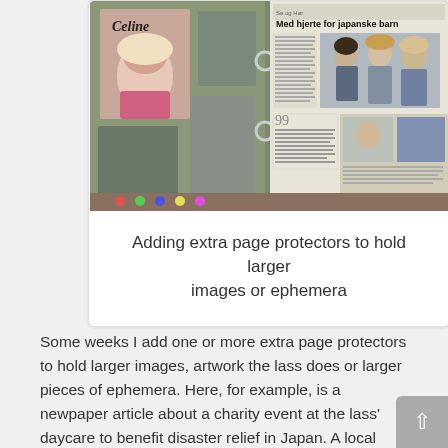[Figure (photo): A scrapbook binder open to pages showing a newspaper article titled 'Med hjerte for japanske barn' with photos, and a Celine Dion album cover on the left page]
Adding extra page protectors to hold larger images or ephemera
Some weeks I add one or more extra page protectors to hold larger images, artwork the lass does or larger pieces of ephemera. Here, for example, is a newpaper article about a charity event at the lass' daycare to benefit disaster relief in Japan. A local recording artist, very popular with the kids, had a mini concert and so I also have a signed photo of her in another added page